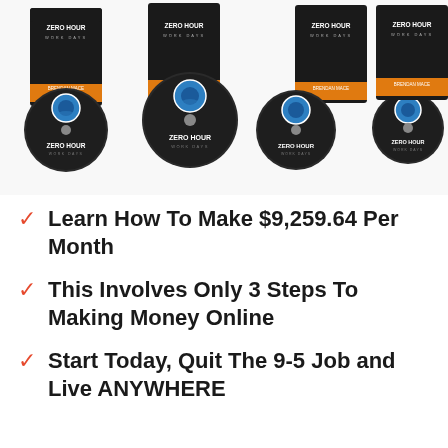[Figure (photo): Product image showing multiple 'Zero Hour Work Days' DVD/CD cases and discs by Brendan Mace, with dark background and orange accents, arranged in a spread layout.]
Learn How To Make $9,259.64 Per Month
This Involves Only 3 Steps To Making Money Online
Start Today, Quit The 9-5 Job and Live ANYWHERE